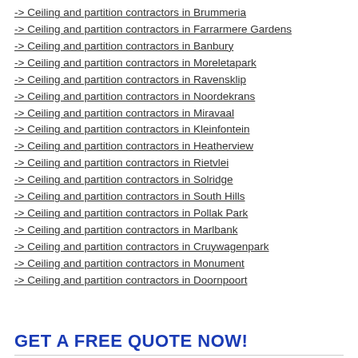-> Ceiling and partition contractors in Brummeria
-> Ceiling and partition contractors in Farrarmere Gardens
-> Ceiling and partition contractors in Banbury
-> Ceiling and partition contractors in Moreletapark
-> Ceiling and partition contractors in Ravensklip
-> Ceiling and partition contractors in Noordekrans
-> Ceiling and partition contractors in Miravaal
-> Ceiling and partition contractors in Kleinfontein
-> Ceiling and partition contractors in Heatherview
-> Ceiling and partition contractors in Rietvlei
-> Ceiling and partition contractors in Solridge
-> Ceiling and partition contractors in South Hills
-> Ceiling and partition contractors in Pollak Park
-> Ceiling and partition contractors in Marlbank
-> Ceiling and partition contractors in Cruywagenpark
-> Ceiling and partition contractors in Monument
-> Ceiling and partition contractors in Doornpoort
GET A FREE QUOTE NOW!
Your name: *